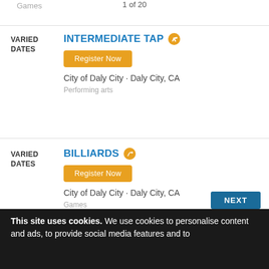Games
VARIED DATES — INTERMEDIATE TAP — Register Now — City of Daly City • Daly City, CA — Performing arts
VARIED DATES — BILLIARDS — Register Now — City of Daly City • Daly City, CA — Games
1 of 20
This site uses cookies. We use cookies to personalise content and ads, to provide social media features and to